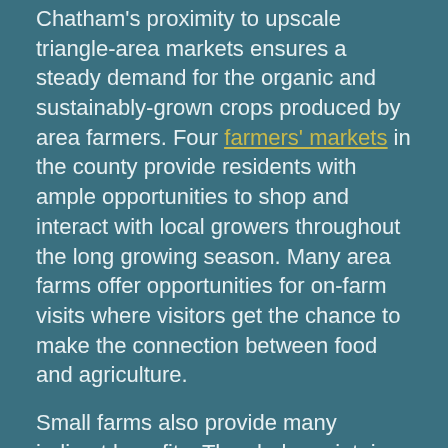Chatham's proximity to upscale triangle-area markets ensures a steady demand for the organic and sustainably-grown crops produced by area farmers. Four farmers' markets in the county provide residents with ample opportunities to shop and interact with local growers throughout the long growing season. Many area farms offer opportunities for on-farm visits where visitors get the chance to make the connection between food and agriculture.
Small farms also provide many indirect benefits. They help maintain open space valued by people and wildlife. Visitors flock to Chatham for the beauty of its rural landscape. The challenge is to preserve this rural landscape in the face of development pressures from Raleigh and Chapel Hill. One way to preserve the rural landscape is to help keep farms in the county.